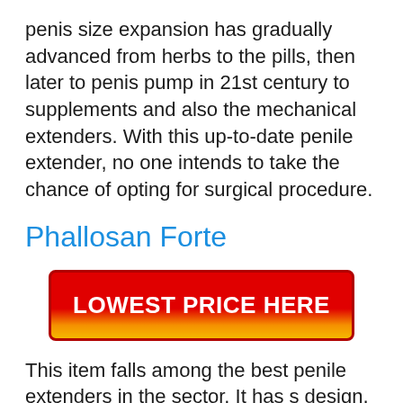penis size expansion has gradually advanced from herbs to the pills, then later to penis pump in 21st century to supplements and also the mechanical extenders. With this up-to-date penile extender, no one intends to take the chance of opting for surgical procedure.
Phallosan Forte
[Figure (other): Red and yellow gradient button with text LOWEST PRICE HERE]
This item falls among the best penile extenders in the sector. It has s design, which enhances the penis length by extending it out. You need to know that